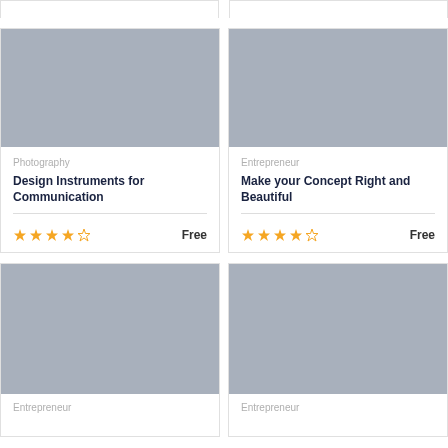[Figure (illustration): Gray placeholder image for course card top strip left]
[Figure (illustration): Gray placeholder image for course card top strip right]
Photography
Design Instruments for Communication
Free
Entrepreneur
Make your Concept Right and Beautiful
Free
[Figure (illustration): Gray placeholder image for bottom left course card]
[Figure (illustration): Gray placeholder image for bottom right course card]
Entrepreneur
Entrepreneur